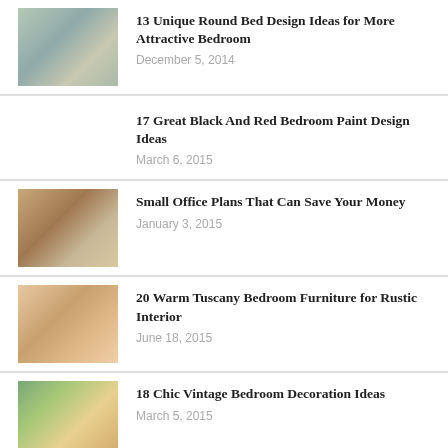13 Unique Round Bed Design Ideas for More Attractive Bedroom
December 5, 2014
17 Great Black And Red Bedroom Paint Design Ideas
March 6, 2015
Small Office Plans That Can Save Your Money
January 3, 2015
20 Warm Tuscany Bedroom Furniture for Rustic Interior
June 18, 2015
18 Chic Vintage Bedroom Decoration Ideas
March 5, 2015